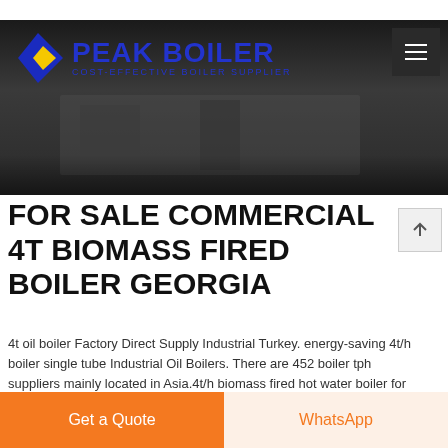[Figure (screenshot): Peak Boiler website header with dark background showing construction/boiler site photo, company logo with blue diamond and PEAK BOILER text, and hamburger menu button]
FOR SALE COMMERCIAL 4T BIOMASS FIRED BOILER GEORGIA
4t oil boiler Factory Direct Supply Industrial Turkey. energy-saving 4t/h boiler single tube Industrial Oil Boilers. There are 452 boiler tph suppliers mainly located in Asia.4t/h biomass fired hot water boiler for palm oil mill 4t/h biomass fired hot water boiler for palm oil mill. 7Mw-14Mw. 3.Pressure boiler or atmospheric pressure boiler. 4.Single drum fire tube and water tube boiler. 5
Get a Quote
WhatsApp